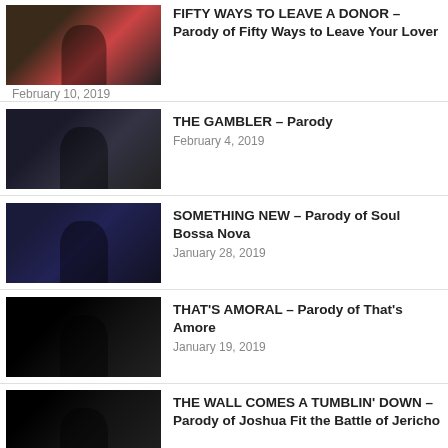FIFTY WAYS TO LEAVE A DONOR – Parody of Fifty Ways to Leave Your Lover
February 10, 2019
THE GAMBLER – Parody
February 4, 2019
SOMETHING NEW – Parody of Soul Bossa Nova
January 28, 2019
THAT'S AMORAL – Parody of That's Amore
January 19, 2019
THE WALL COMES A TUMBLIN' DOWN – Parody of Joshua Fit the Battle of Jericho
January 14, 2019
24 MONTHS OF TRUMP'S MESS (sequel)
January 8, 2019
FROSTY THE SNOWMAN – Parody
December 23, 2018